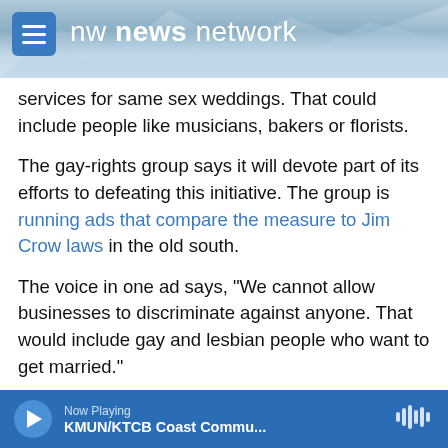nw news network
services for same sex weddings. That could include people like musicians, bakers or florists.
The gay-rights group says it will devote part of its efforts to defeating this initiative. The group is running ads that compare the measure to Jim Crow laws in the old south.
The voice in one ad says, "We cannot allow businesses to discriminate against anyone. That would include gay and lesbian people who want to get married."
The measure is backed by Friends for Religious
Now Playing
KMUN/KTCB Coast Commu...